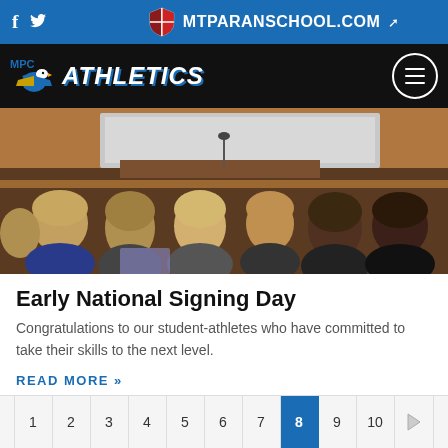f  twitter  MTPARANSCHOOL.COM
[Figure (logo): MPC Athletics logo with eagle and stylized ATHLETICS text on black navbar]
[Figure (photo): Students sitting in a lecture hall or classroom viewed from behind, with a screen or whiteboard at the front]
Early National Signing Day
Congratulations to our student-athletes who have committed to take their skills to the next level.
READ MORE »
‹ 1 2 3 4 5 6 7 8 9 10 ›